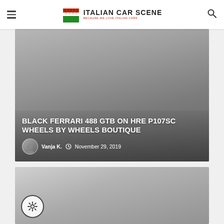ITALIAN CAR SCENE — BECAUSE WE LOVE ITALIAN CARS
[Figure (photo): Hero image card for article: Black Ferrari 488 GTB on HRE P107SC Wheels by Wheels Boutique, with author avatar of Vanja K. and date November 29, 2019]
BLACK FERRARI 488 GTB ON HRE P107SC WHEELS BY WHEELS BOUTIQUE
Vanja K.  November 29, 2019
[Figure (photo): Second article card with gear/settings icon in bottom-left corner, gradient grey background]